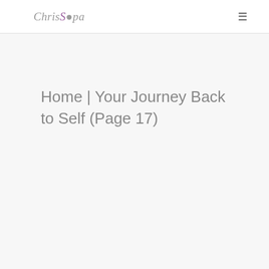Chris Sopa
Home | Your Journey Back to Self (Page 17)